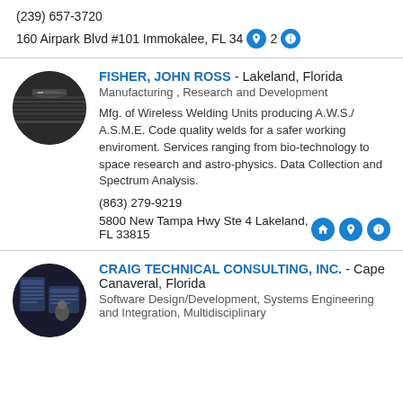(239) 657-3720
160 Airpark Blvd #101 Immokalee, FL 3402
[Figure (photo): Circular avatar showing weld/metal texture lines in dark tones for Fisher, John Ross]
FISHER, JOHN ROSS - Lakeland, Florida
Manufacturing , Research and Development
Mfg. of Wireless Welding Units producing A.W.S./ A.S.M.E. Code quality welds for a safer working enviroment. Services ranging from bio-technology to space research and astro-physics. Data Collection and Spectrum Analysis.
(863) 279-9219
5800 New Tampa Hwy Ste 4 Lakeland, FL 33815
[Figure (photo): Circular avatar showing dark blue poster/document imagery with a person silhouette for Craig Technical Consulting, Inc.]
CRAIG TECHNICAL CONSULTING, INC. - Cape Canaveral, Florida
Software Design/Development, Systems Engineering and Integration, Multidisciplinary